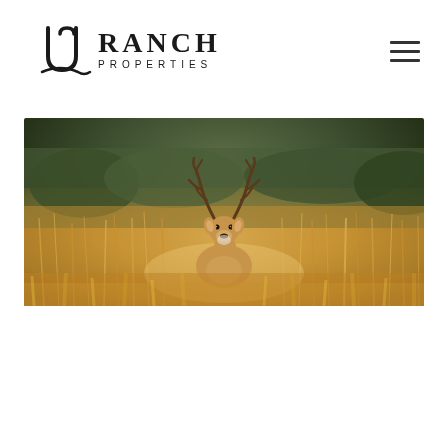UC Ranch Properties logo and navigation
[Figure (photo): A white-tailed buck deer standing in golden tall grass with blurred autumn foliage in the background, looking directly at the camera.]